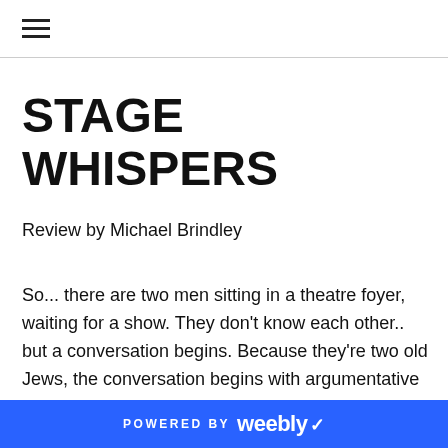☰ (hamburger menu icon)
STAGE WHISPERS
Review by Michael Brindley
So... there are two men sitting in a theatre foyer, waiting for a show. They don't know each other.. but a conversation begins. Because they're two old Jews, the conversation begins with argumentative kvetching. Look at this foyer. It's too small. They turn a Town Hall into a theatre – and the theatre is – what?  big enough for maybe four hundred people? Can four hundred people fit in this foyer? No. It's too small. The two old
POWERED BY weebly